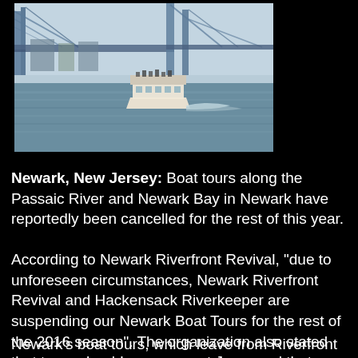[Figure (photo): A boat on the water with a large blue bridge structure visible in the background on a hazy day.]
Newark, New Jersey: Boat tours along the Passaic River and Newark Bay in Newark have reportedly been cancelled for the rest of this year.
According to Newark Riverfront Revival, "due to unforeseen circumstances, Newark Riverfront Revival and Hackensack Riverkeeper are suspending our Newark Boat Tours for the rest of the 2016 season". The organization also stated that tours should resume next June, and that donations for cancelled programs will be returned. Before the cancellation, tours had been scheduled for yesterday, September 11th, and September 18th.
Newark's boat tours, which leave from Riverfront